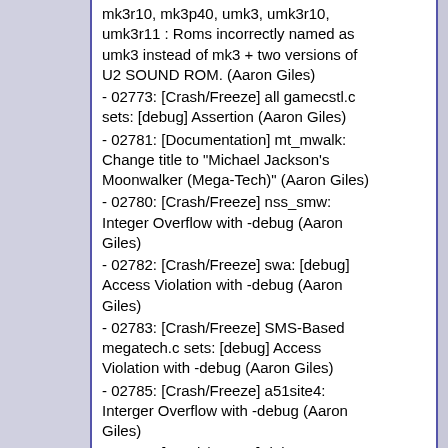mk3r10, mk3p40, umk3, umk3r10, umk3r11 : Roms incorrectly named as umk3 instead of mk3 + two versions of U2 SOUND ROM. (Aaron Giles) - 02773: [Crash/Freeze] all gamecstl.c sets: [debug] Assertion (Aaron Giles) - 02781: [Documentation] mt_mwalk: Change title to "Michael Jackson's Moonwalker (Mega-Tech)" (Aaron Giles) - 02780: [Crash/Freeze] nss_smw: Integer Overflow with -debug (Aaron Giles) - 02782: [Crash/Freeze] swa: [debug] Access Violation with -debug (Aaron Giles) - 02783: [Crash/Freeze] SMS-Based megatech.c sets: [debug] Access Violation with -debug (Aaron Giles) - 02785: [Crash/Freeze] a51site4: Interger Overflow with -debug (Aaron Giles) - 01092: [Crash/Freeze] debugger crashes when exiting during "run to cursor" (robiza) - 02738: [Documentation] zoar: The rom marked as bad dump is not bad. (Aaron Giles) - 02758: [Compiling] linking ldplayer fails (Aaron Giles) - 02764: [Crash/Freeze] liberath: